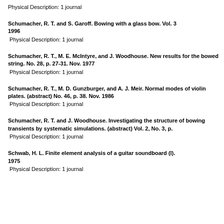Physical Description: 1 journal
Schumacher, R. T. and S. Garoff. Bowing with a glass bow. Vol. 3 1996
Physical Description: 1 journal
Schumacher, R. T., M. E. McIntyre, and J. Woodhouse. New results for the bowed string. No. 28, p. 27-31. Nov. 1977
Physical Description: 1 journal
Schumacher, R. T., M. D. Gunzburger, and A. J. Meir. Normal modes of violin plates. (abstract) No. 46, p. 38. Nov. 1986
Physical Description: 1 journal
Schumacher, R. T. and J. Woodhouse. Investigating the structure of bowing transients by systematic simulations. (abstract) Vol. 2, No. 3, p.
Physical Description: 1 journal
Schwab, H. L. Finite element analysis of a guitar soundboard (l). 1975
Physical Description: 1 journal